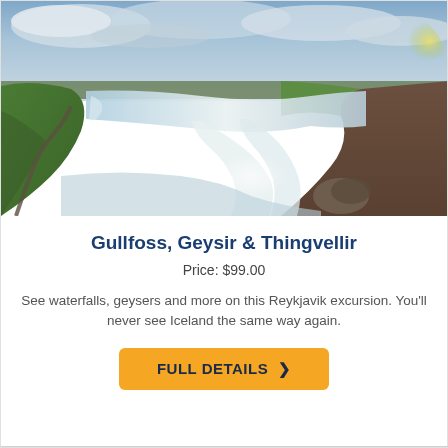[Figure (photo): Scenic aerial/wide-angle photo of Gullfoss waterfall in Iceland with green cliffs, rushing white water cascading into a canyon, a winding path, and dramatic cloudy sky.]
Gullfoss, Geysir & Thingvellir
Price: $99.00
See waterfalls, geysers and more on this Reykjavik excursion. You'll never see Iceland the same way again.
FULL DETAILS >